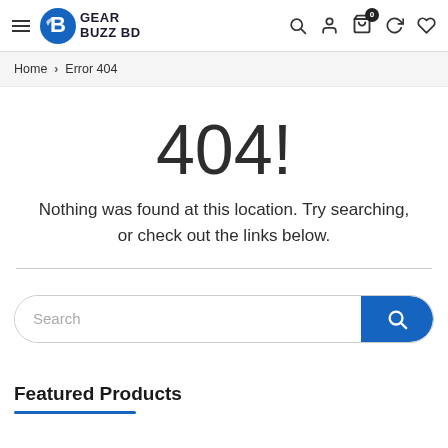Gear Buzz BD — site header with navigation icons
Home > Error 404
404!
Nothing was found at this location. Try searching, or check out the links below.
[Figure (screenshot): Search input bar with blue search button on right]
Featured Products